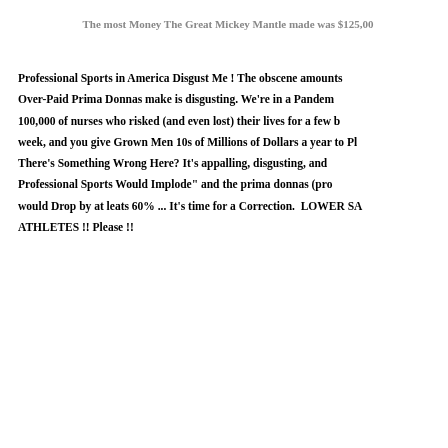The most Money The Great Mickey Mantle made was $125,00
Professional Sports in America Disgust Me ! The obscene amounts Over-Paid Prima Donnas make is disgusting. We're in a Pandem 100,000 of nurses who risked (and even lost) their lives for a few b week, and you give Grown Men 10s of Millions of Dollars a year to Pl There's Something Wrong Here? It's appalling, disgusting, and Professional Sports Would Implode" and the prima donnas (pro would Drop by at leats 60% ... It's time for a Correction. LOWER SA ATHLETES !! Please !!